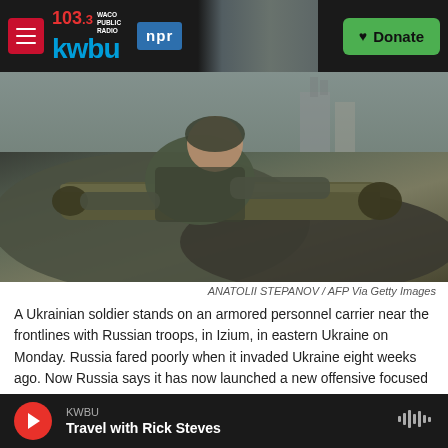103.3 KWBU | WACO PUBLIC RADIO | npr | Donate
[Figure (photo): A Ukrainian soldier in camouflage uniform stands on an armored personnel carrier, handling a large artillery shell or rocket, with industrial buildings visible in the background.]
ANATOLII STEPANOV / AFP Via Getty Images
A Ukrainian soldier stands on an armored personnel carrier near the frontlines with Russian troops, in Izium, in eastern Ukraine on Monday. Russia fared poorly when it invaded Ukraine eight weeks ago. Now Russia says it has now launched a new offensive focused on eastern Ukraine.
Updated April 19, 2022 at 5:07 PM ET
KWBU | Travel with Rick Steves